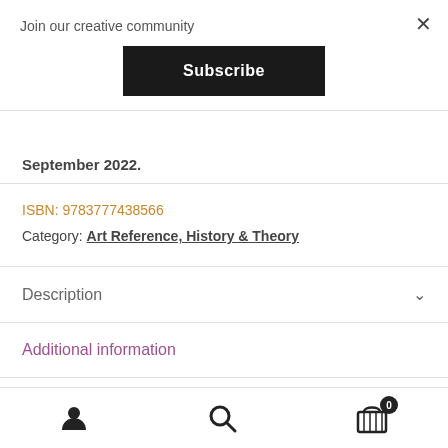Join our creative community
Subscribe
September 2022.
ISBN: 9783777438566
Category: Art Reference, History & Theory
Description
Additional information
user icon | search icon | cart (0)